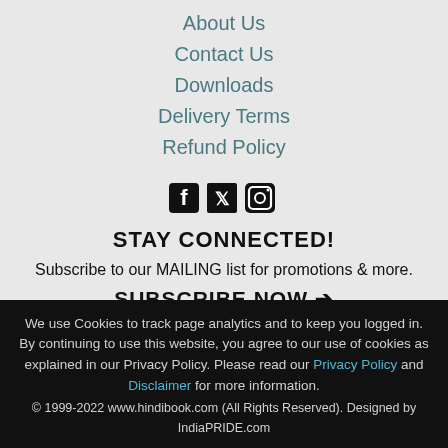About Us
Contact Us
Downloads
Delivery Terms
Refund Policy
[Figure (infographic): Social media icons: Facebook, Twitter, Instagram]
STAY CONNECTED!
Subscribe to our MAILING list for promotions & more.
SUBSCRIBE NOW →
We use Cookies to track page analytics and to keep you logged in. By continuing to use this website, you agree to our use of cookies as explained in our Privacy Policy. Please read our Privacy Policy and Disclaimer for more information. © 1999-2022 www.hindibook.com (All Rights Reserved). Designed by IndiaPRIDE.com